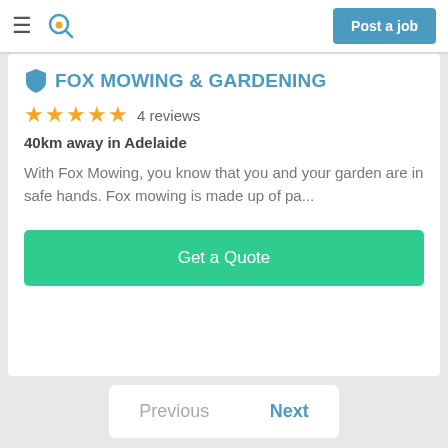≡  [search icon]  Post a job
FOX MOWING & GARDENING
★★★★★  4 reviews
40km away in Adelaide
With Fox Mowing, you know that you and your garden are in safe hands. Fox mowing is made up of pa...
Get a Quote
Previous  Next